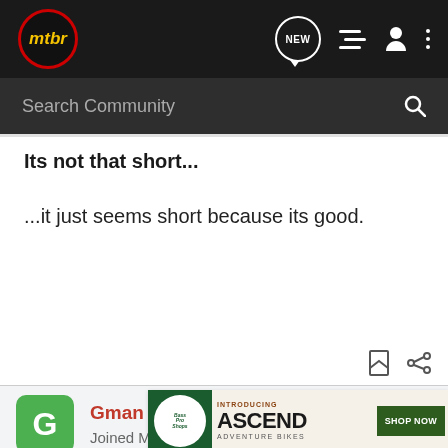mtbr — NEW | list | user | menu
Search Community
Its not that short...
...it just seems short because its good.
Gman · Registered
Joined Mar 31, 2005 · 743 Posts
#12 · Apr 19, 2005
The coll... orld
[Figure (screenshot): Advertisement banner: Bass Pro Shops — Introducing ASCEND Adventure Bikes — SHOP NOW]